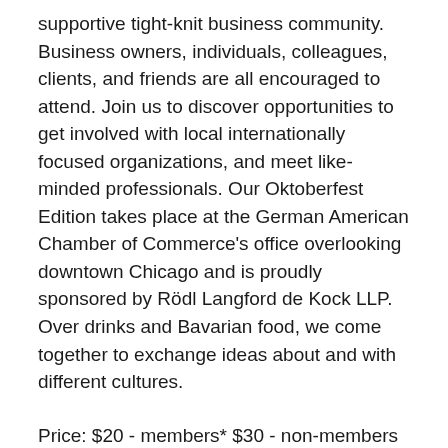supportive tight-knit business community. Business owners, individuals, colleagues, clients, and friends are all encouraged to attend. Join us to discover opportunities to get involved with local internationally focused organizations, and meet like-minded professionals. Our Oktoberfest Edition takes place at the German American Chamber of Commerce's office overlooking downtown Chicago and is proudly sponsored by Rödl Langford de Kock LLP. Over drinks and Bavarian food, we come together to exchange ideas about and with different cultures.
Price: $20 - members* $30 - non-members The price includes food & beverages.
*Member rates are reserved for active members of the chambers listed below and up to five additional guests. Our member prices are offered to all members from the